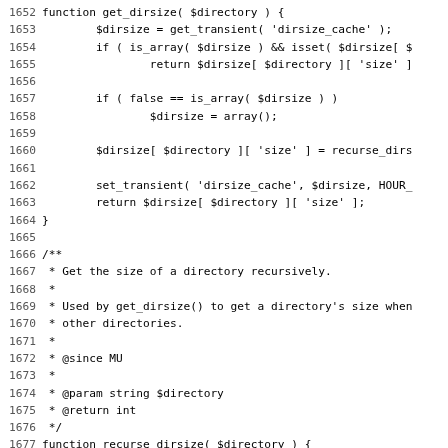Code listing lines 1652-1683 showing PHP functions get_dirsize and recurse_dirsize